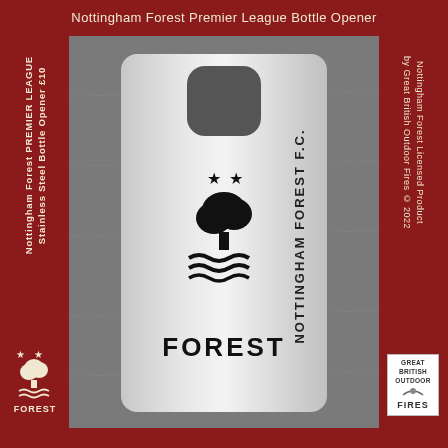Nottingham Forest Premier League Bottle Opener
[Figure (photo): A stainless steel credit-card shaped bottle opener engraved with Nottingham Forest F.C. text and club crest (tree with waves and FOREST text, two stars), with 'NOTTINGHAM FOREST F.C.' along the left edge and 'ENGLISH PREMIER LEAGUE' along the right edge, photographed on a grey stone surface with dark red/maroon border background.]
Nottingham Forest PREMIER LEAGUE
Stainless Steel Bottle Opener £10
Nottingham Forest Licensed Product
by Great British Outdoor Fires © 2022